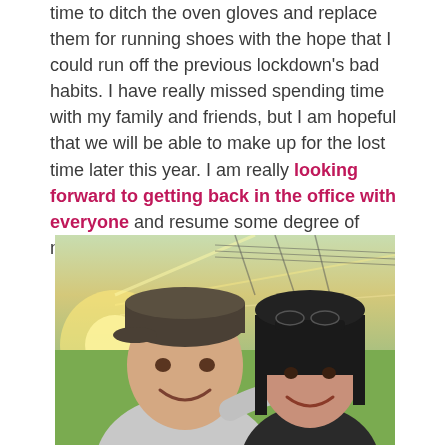time to ditch the oven gloves and replace them for running shoes with the hope that I could run off the previous lockdown's bad habits. I have really missed spending time with my family and friends, but I am hopeful that we will be able to make up for the lost time later this year. I am really looking forward to getting back in the office with everyone and resume some degree of normality once again.
[Figure (photo): Outdoor selfie of a smiling couple at golden hour. The man on the left wears a grey hoodie and a dark cap; the woman on the right has dark hair with sunglasses on her head. Green fields and power lines visible in the background.]